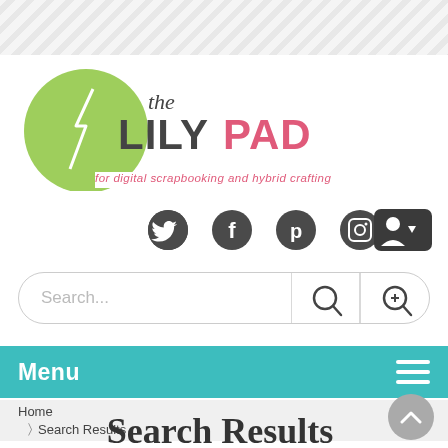[Figure (logo): The Lily Pad logo — green circle with cursive 'the' and block letters 'LILYPAD']
for digital scrapbooking and hybrid crafting
[Figure (infographic): Social media icons row: Twitter, Facebook, Pinterest, Instagram (dark circles), plus dark rectangular user/account button with dropdown arrow]
Search...
Menu
Home
> Search Results
Search Results